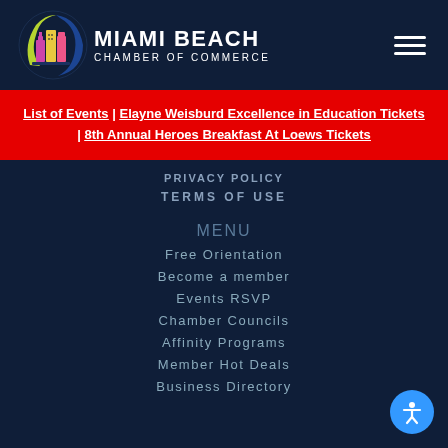[Figure (logo): Miami Beach Chamber of Commerce logo with circular city skyline icon and hamburger menu icon]
List of Events | Elayne Weisburd Excellence in Education Tickets | 8th Annual Heroes Breakfast At Loews Tickets
PRIVACY POLICY
TERMS OF USE
MENU
Free Orientation
Become a member
Events RSVP
Chamber Councils
Affinity Programs
Member Hot Deals
Business Directory